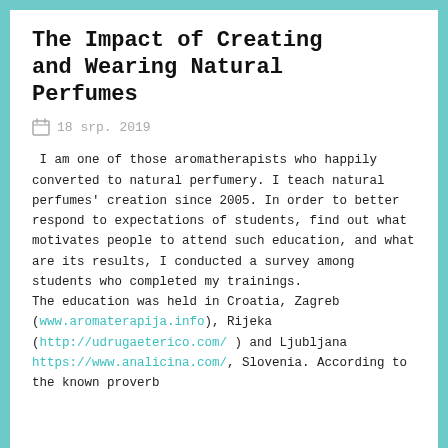The Impact of Creating and Wearing Natural Perfumes
18 srp. 2019
I am one of those aromatherapists who happily converted to natural perfumery. I teach natural perfumes' creation since 2005. In order to better respond to expectations of students, find out what motivates people to attend such education, and what are its results, I conducted a survey among students who completed my trainings.
The education was held in Croatia, Zagreb (www.aromaterapija.info), Rijeka (http://udrugaeterico.com/ ) and Ljubljana https://www.analicina.com/ , Slovenia. According to the known proverb